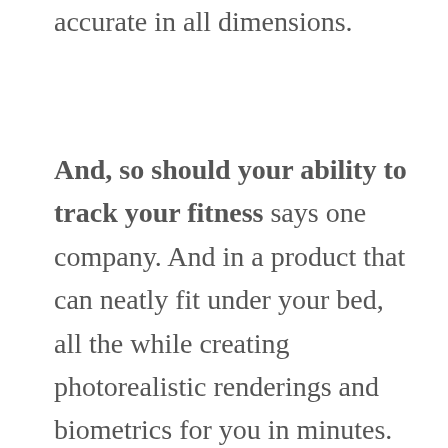accurate in all dimensions.
And, so should your ability to track your fitness says one company. And in a product that can neatly fit under your bed, all the while creating photorealistic renderings and biometrics for you in minutes. And no this is not an advertisement for Shapescale, but what I am amazed about is